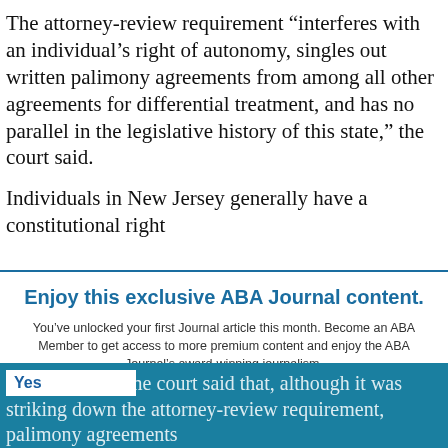The attorney-review requirement “interferes with an individual’s right of autonomy, singles out written palimony agreements from among all other agreements for differential treatment, and has no parallel in the legislative history of this state,” the court said.
Individuals in New Jersey generally have a constitutional right
Enjoy this exclusive ABA Journal content.
You’ve unlocked your first Journal article this month. Become an ABA Member to get access to more premium content and enjoy the ABA Journal’s award-winning journalism.
JOIN NOW
Already an ABA Member? Sign in
Yes
The state supreme court said that, although it was striking down the attorney-review requirement, palimony agreements